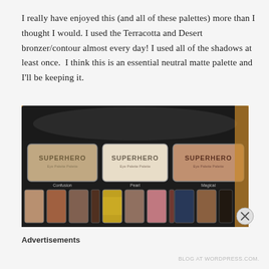I really have enjoyed this (and all of these palettes) more than I thought I would. I used the Terracotta and Desert bronzer/contour almost every day! I used all of the shadows at least once.  I think this is an essential neutral matte palette and I'll be keeping it.
[Figure (photo): Photo of three Too Faced Superhero eye shadow palettes open, showing large highlight/bronzer pans labeled SUPERHERO in the top row (one warm beige, one pale ivory, one rose-copper), and multiple smaller eyeshadow pans beneath in various neutral, brown, gold, mauve, blue and dark shades. Labels visible: Confusion, Pearl, Magical.]
Advertisements